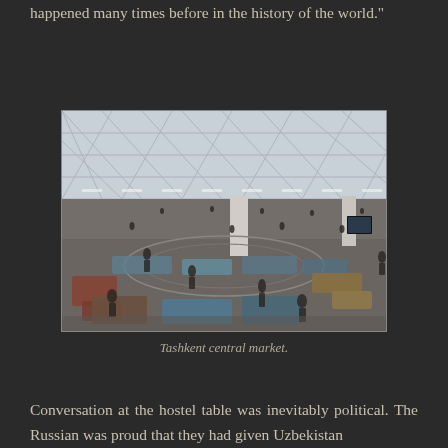happened many times before in the history of the world.”
[Figure (photo): Interior of Tashkent central market, a large domed building with geometric ceiling structure, showing market stalls, display counters arranged in curved rows, vendors and shoppers visible throughout the busy indoor market hall.]
Tashkent central market.
Conversation at the hostel table was inevitably political. The Russian was proud that they had given Uzbekistan